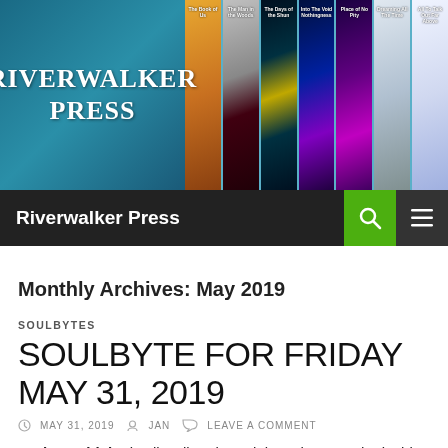[Figure (photo): Riverwalker Press website header banner with logo on left and a strip of book covers on the right, against an aqua/teal water background]
Riverwalker Press
Monthly Archives: May 2019
SOULBYTES
SOULBYTE FOR FRIDAY MAY 31, 2019
MAY 31, 2019   JAN   LEAVE A COMMENT
Body positivity is all well and good, but what's on the inside